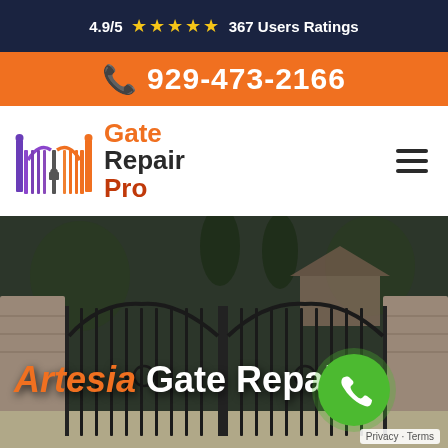4.9/5 ★★★★★ 367 Users Ratings
929-473-2166
[Figure (logo): Gate Repair Pro logo with orange and purple gate icon]
[Figure (photo): Ornamental iron double gate between stone pillars with trees in background]
Artesia Gate Repair
Privacy · Terms